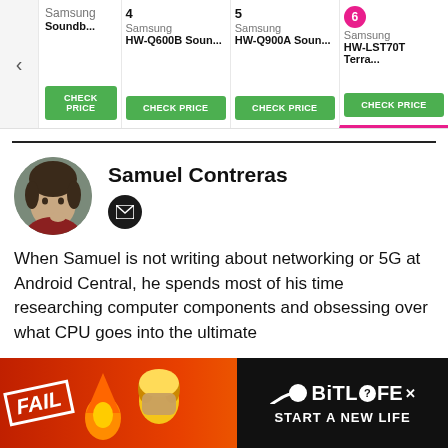[Figure (screenshot): Product comparison bar showing Samsung soundbar items numbered 4, 5, 6 with CHECK PRICE buttons]
Samuel Contreras
[Figure (photo): Circular profile photo of Samuel Contreras]
When Samuel is not writing about networking or 5G at Android Central, he spends most of his time researching computer components and obsessing over what CPU goes into the ultimate
[Figure (advertisement): BitLife advertisement banner with FAIL text and START A NEW LIFE slogan on red/orange background]